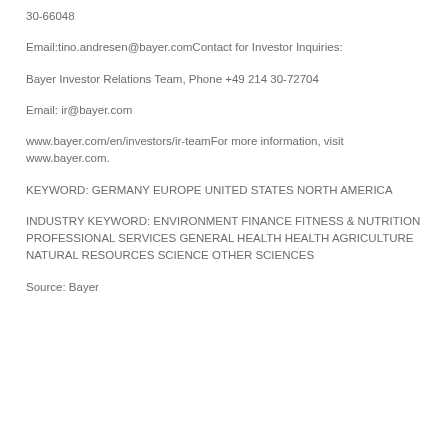30-66048
Email:tino.andresen@bayer.comContact for Investor Inquiries:
Bayer Investor Relations Team, Phone +49 214 30-72704
Email: ir@bayer.com
www.bayer.com/en/investors/ir-teamFor more information, visit www.bayer.com.
KEYWORD: GERMANY EUROPE UNITED STATES NORTH AMERICA
INDUSTRY KEYWORD: ENVIRONMENT FINANCE FITNESS & NUTRITION PROFESSIONAL SERVICES GENERAL HEALTH HEALTH AGRICULTURE NATURAL RESOURCES SCIENCE OTHER SCIENCES
Source: Bayer